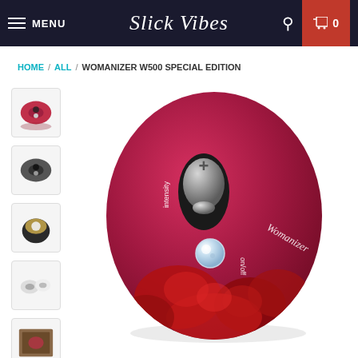MENU | Slick Vibes | Search | Cart 0
HOME / ALL / WOMANIZER W500 SPECIAL EDITION
[Figure (photo): Product thumbnails column showing 5 small images of the Womanizer W500 Special Edition from different angles]
[Figure (photo): Main product image of the Womanizer W500 Special Edition - a rose-patterned magenta/red egg-shaped device with intensity controls and on/off button with crystal jewel accent]